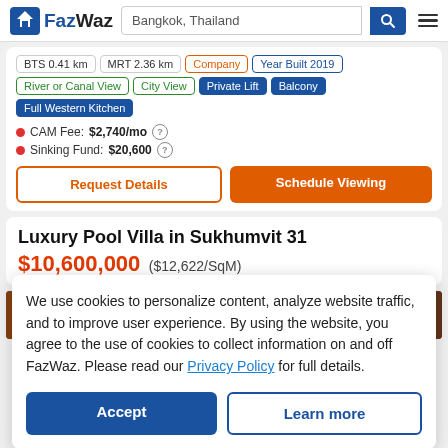FazWaz — Bangkok, Thailand search bar
BTS 0.41 km | MRT 2.36 km | Company | Year Built 2019
River or Canal View | City View | Private Lift | Balcony | Full Western Kitchen
CAM Fee: $2,740/mo
Sinking Fund: $20,600
Request Details
Schedule Viewing
Luxury Pool Villa in Sukhumvit 31
$10,600,000 ($12,622/SqM)
We use cookies to personalize content, analyze website traffic, and to improve user experience. By using the website, you agree to the use of cookies to collect information on and off FazWaz. Please read our Privacy Policy for full details.
Accept
Learn more
[Figure (photo): Bottom image strip showing interior/room photo]